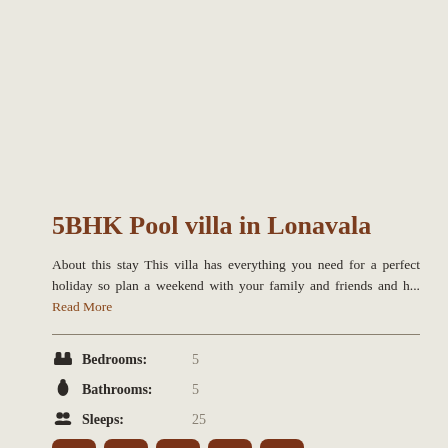5BHK Pool villa in Lonavala
About this stay This villa has everything you need for a perfect holiday so plan a weekend with your family and friends and h... Read More
Bedrooms: 5
Bathrooms: 5
Sleeps: 25
[Figure (infographic): Row of 5 brown rounded square icon buttons: wine glass, unlabeled, wifi, unlabeled, unlabeled]